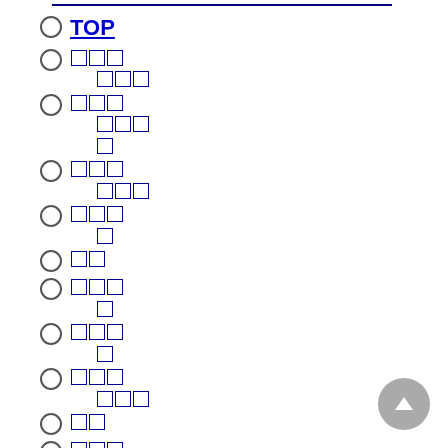TOP
□□□ □□□
□□□ □□□ □
□□□ □□□
□□□ □
□□
□□□ □
□□□ □
□□□ □□□
□□
□□□ □